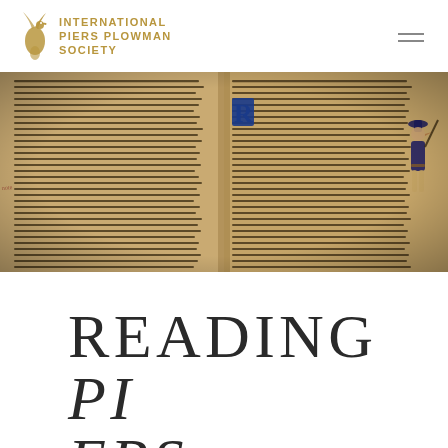INTERNATIONAL PIERS PLOWMAN SOCIETY
[Figure (photo): Open medieval manuscript with handwritten Middle English text in brown ink on parchment, two columns visible, with an illuminated decorated initial letter and a marginal illustration of a figure in medieval dress on the right side.]
READING PIERS PLOWMAN